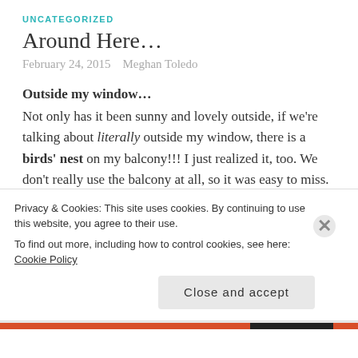UNCATEGORIZED
Around Here…
February 24, 2015   Meghan Toledo
Outside my window…
Not only has it been sunny and lovely outside, if we're talking about literally outside my window, there is a birds' nest on my balcony!!! I just realized it, too. We don't really use the balcony at all, so it was easy to miss. Then about two days ago, I noticed it. It's all the way at the top of the left hand side, subtly
Privacy & Cookies: This site uses cookies. By continuing to use this website, you agree to their use.
To find out more, including how to control cookies, see here: Cookie Policy
Close and accept